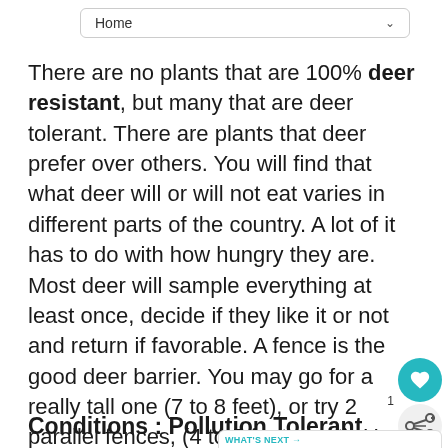Home
There are no plants that are 100% deer resistant, but many that are deer tolerant. There are plants that deer prefer over others. You will find that what deer will or will not eat varies in different parts of the country. A lot of it has to do with how hungry they are. Most deer will sample everything at least once, decide if they like it or not and return if favorable. A fence is the good deer barrier. You may go for a really tall one (7 to 8 feet), or try 2 parallel fences, (4 to 5 feet apart). Use a wire mesh fence rather than board, since deer are capable of wiggling through a 12 inch space
Conditions : Pollution Tolerant